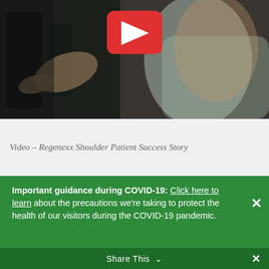[Figure (photo): Video thumbnail showing a person exercising, with a red YouTube-style play button in the center top area. Person appears to be in athletic wear in a gym setting.]
Video – Regenexx Shoulder Patient Success Story
Important guidance during COVID-19: Click here to learn about the precautions we're taking to protect the health of our visitors during the COVID-19 pandemic.
Share This